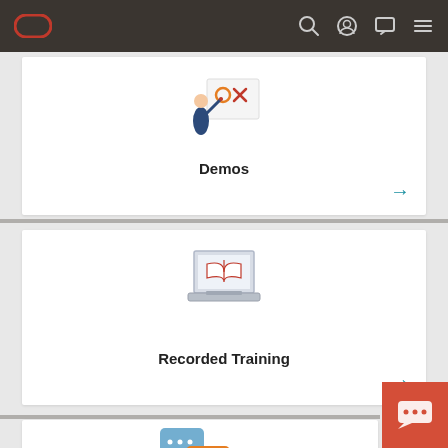Oracle navigation bar with logo, search, profile, chat, and menu icons
[Figure (illustration): Person pointing at a board with X and circle marks - Demos card illustration]
Demos
[Figure (illustration): Laptop with open book on screen - Recorded Training card illustration]
Recorded Training
[Figure (illustration): Chat bubble icons - partial third card illustration]
[Figure (illustration): Orange chat widget button with ellipsis icon in bottom right corner]